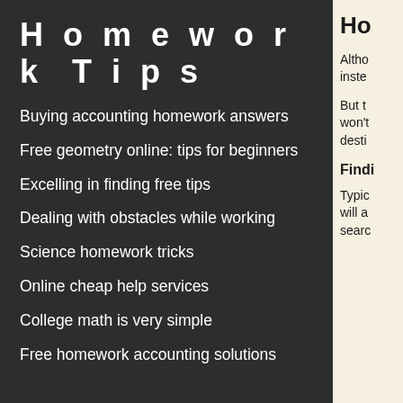Homework Tips
Buying accounting homework answers
Free geometry online: tips for beginners
Excelling in finding free tips
Dealing with obstacles while working
Science homework tricks
Online cheap help services
College math is very simple
Free homework accounting solutions
Ho
Altho inste
But t won't desti
Findi
Typic will a searc